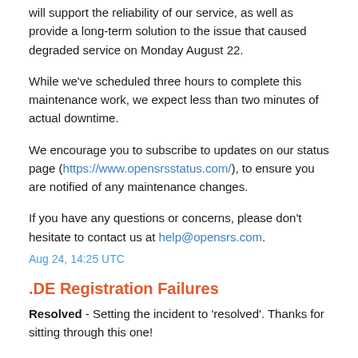will support the reliability of our service, as well as provide a long-term solution to the issue that caused degraded service on Monday August 22.
While we've scheduled three hours to complete this maintenance work, we expect less than two minutes of actual downtime.
We encourage you to subscribe to updates on our status page (https://www.opensrsstatus.com/), to ensure you are notified of any maintenance changes.
If you have any questions or concerns, please don't hesitate to contact us at help@opensrs.com.
Aug 24, 14:25 UTC
.DE Registration Failures
Resolved - Setting the incident to 'resolved'. Thanks for sitting through this one!